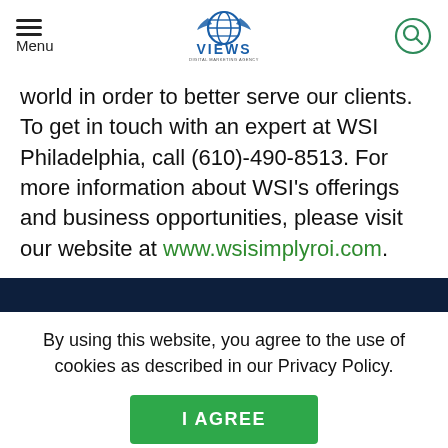Menu | VIEWS DIGITAL MARKETING AGENCY
world in order to better serve our clients. To get in touch with an expert at WSI Philadelphia, call (610)-490-8513. For more information about WSI's offerings and business opportunities, please visit our website at www.wsisimplyroi.com.
By using this website, you agree to the use of cookies as described in our Privacy Policy.
I AGREE